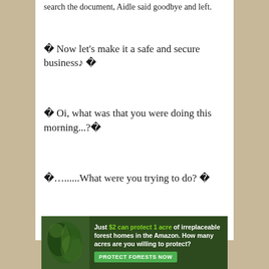search the document, Aidle said goodbye and left.
「Now let's make it a safe and secure business♪」
「Oi, what was that you were doing this morning...?」
「…......What were you trying to do?」
Along the road to the Adventurer's Guild, Aidle drew a circle on the ground and stood inside it. Next to her, Arena and the others were putting up signs and were selling out to people.
[Figure (photo): Advertisement banner: 'Just $2 can protect 1 acre of irreplaceable forest homes in the Amazon. How many acres are you willing to protect?' with a green 'PROTECT FORESTS NOW' button and a nature/leaf image on the left side.]